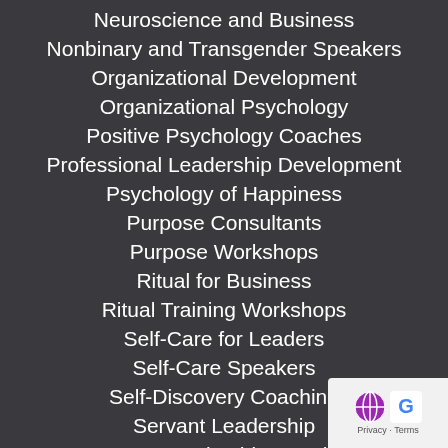Neuroscience and Business
Nonbinary and Transgender Speakers
Organizational Development
Organizational Psychology
Positive Psychology Coaches
Professional Leadership Development
Psychology of Happiness
Purpose Consultants
Purpose Workshops
Ritual for Business
Ritual Training Workshops
Self-Care for Leaders
Self-Care Speakers
Self-Discovery Coaching
Servant Leadership
Servant Leadership Speakers
Shadow Work Therapy